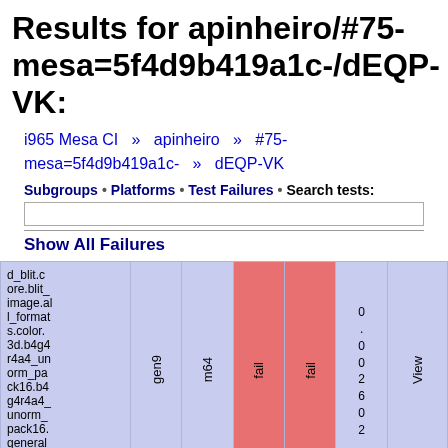Results for apinheiro/#75-mesa=5f4d9b419a1c-/dEQP-VK:
i965 Mesa CI  »  apinheiro  »  #75-mesa=5f4d9b419a1c-  »  dEQP-VK
Subgroups • Platforms • Test Failures • Search tests:
Show All Failures
| test name | gen9 | m64 | fail | fail | 0.002602 | View |
| --- | --- | --- | --- | --- | --- | --- |
| d_blit.core.blit_image.all_formats.color.3d.b4g4r4a4_unorm_pack16.b4g4r4a4_unorm_pack16.general.genero | gen9 | m64 | fail | fail | 0.002602 | View |